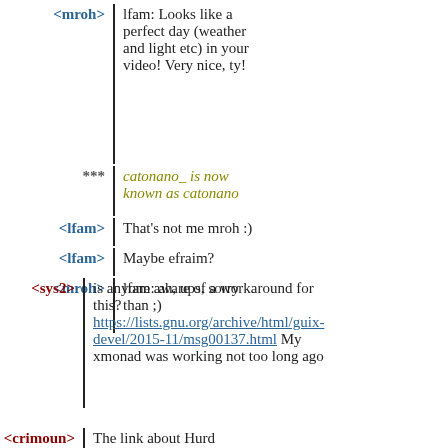<mroh> lfam: Looks like a perfect day (weather and light etc) in your video! Very nice, ty!
*** catonano_ is now known as catonano
<lfam> That's not me mroh :)
<lfam> Maybe efraim?
<mroh> lfam: ah, ups, sorry than ;)
<sys2> is anyone aware of a workaround for this? https://lists.gnu.org/archive/html/guix-devel/2015-11/msg00137.html My xmonad was working not too long ago
<crimoun> The link about Hurd